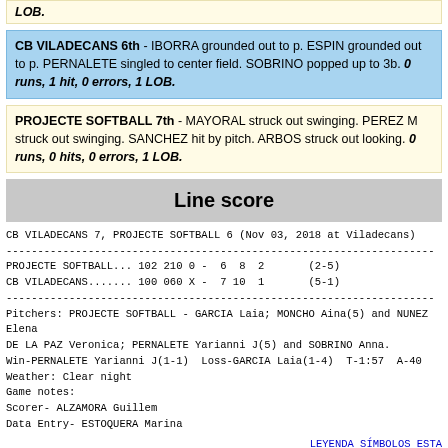LOB.
CB VILADECANS 6th - IBORRA grounded out to p. ESPIN grounded out to p. PERNALETE singled to center field. SOBRINO popped up to 3b. 0 runs, 1 hit, 0 errors, 1 LOB.
PROJECTE SOFTBALL 7th - MAYORAL struck out swinging. PEREZ M struck out swinging. SANCHEZ hit by pitch. ARBOS struck out looking. 0 runs, 0 hits, 0 errors, 1 LOB.
Line score
CB VILADECANS 7, PROJECTE SOFTBALL 6 (Nov 03, 2018 at Viladecans)
--------------------------------------------------------------------
PROJECTE SOFTBALL... 102 210 0 -  6  8  2       (2-5)
CB VILADECANS....... 100 060 X -  7 10  1       (5-1)
--------------------------------------------------------------------
Pitchers: PROJECTE SOFTBALL - GARCIA Laia; MONCHO Aina(5) and NUNEZ Elena
DE LA PAZ Veronica; PERNALETE Yarianni J(5) and SOBRINO Anna.
Win-PERNALETE Yarianni J(1-1)  Loss-GARCIA Laia(1-4)  T-1:57  A-40
Weather: Clear night
Game notes:
Scorer- ALZAMORA Guillem
Data Entry- ESTOQUERA Marina
LEYENDA SÍMBOLOS ESTA